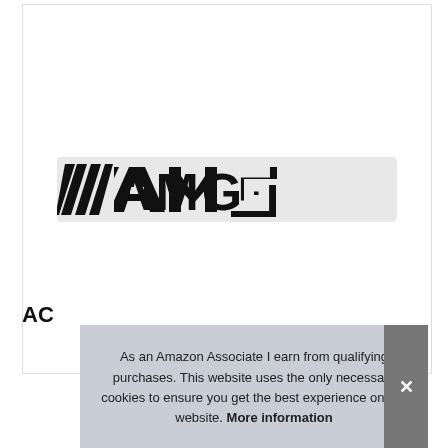[Figure (photo): A black AMG emblem/badge on a white/light gray background. The badge shows three parallel diagonal stripes followed by 'AMG' text in bold black block letters.]
AC
As an Amazon Associate I earn from qualifying purchases. This website uses the only necessary cookies to ensure you get the best experience on our website. More information